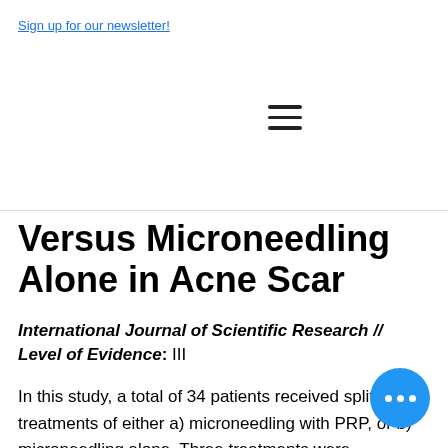Sign up for our newsletter!
Versus Microneedling Alone in Acne Scar
International Journal of Scientific Research // Level of Evidence: III
In this study, a total of 34 patients received split-face treatments of either a) microneedling with PRP, or b) microneedling alone. Three treatments were performed and final assessment was done using physician satisfaction score and Goodman and Baron acne scar grading one month after last